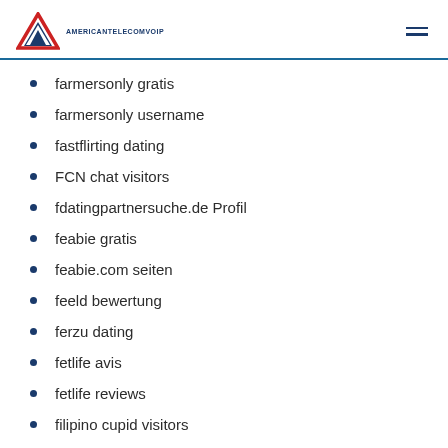AMERICANTELECOMVOIP
farmersonly gratis
farmersonly username
fastflirting dating
FCN chat visitors
fdatingpartnersuche.de Profil
feabie gratis
feabie.com seiten
feeld bewertung
ferzu dating
fetlife avis
fetlife reviews
filipino cupid visitors